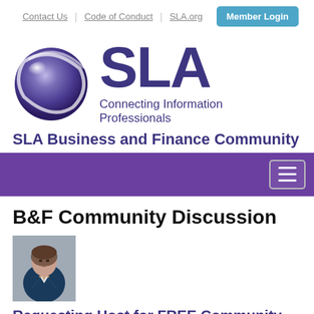Contact Us | Code of Conduct | SLA.org | Member Login
[Figure (logo): SLA logo with purple globe and text 'SLA Connecting Information Professionals']
SLA Business and Finance Community
[Figure (other): Purple navigation bar with hamburger menu button]
B&F Community Discussion
[Figure (photo): Author headshot photo - woman in business attire]
Requesting Host for FREE Community...